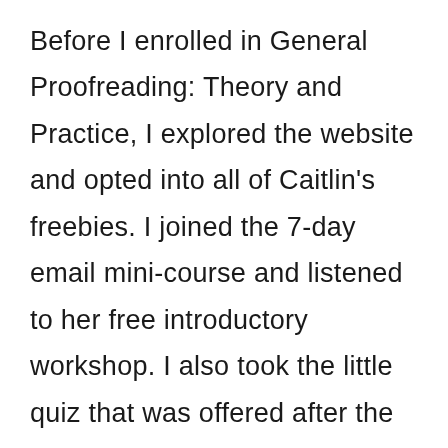Before I enrolled in General Proofreading: Theory and Practice, I explored the website and opted into all of Caitlin's freebies. I joined the 7-day email mini-course and listened to her free introductory workshop. I also took the little quiz that was offered after the introductory workshop. I wanted to make sure this was something I could see myself doing before I committed with my financial investment.